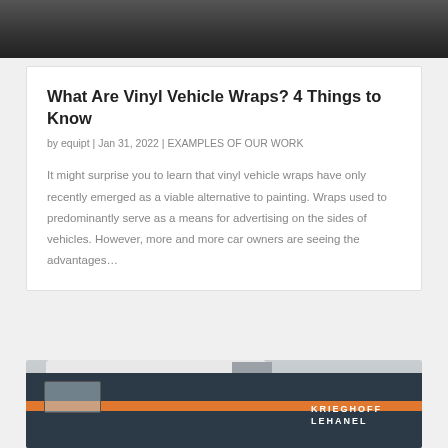[Figure (photo): Top portion of a photo showing a person against a dark background, cropped at the top of the page]
What Are Vinyl Vehicle Wraps? 4 Things to Know
by equipt | Jan 31, 2022 | EXAMPLES OF OUR WORK
It might surprise you to learn that vinyl vehicle wraps have only recently emerged as a viable alternative to painting. Wraps used to predominantly serve as a means for advertising on the sides of vehicles. However, more and more car owners are seeing the advantages…
[Figure (photo): Photo of a dark navy van with orange stripes and the text KRIEGHOFF LEHANEL on the side, parked outdoors in winter]